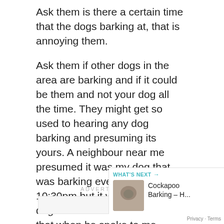Ask them is there a certain time that the dogs barking at, that is annoying them.
Ask them if other dogs in the area are barking and if it could be them and not your dog all the time. They might get so used to hearing any dog barking and presuming its yours. A neighbour near me presumed it was my dog that was barking every night at 10:30pm but it was actually the dog behind us and he realised that when he spoke to me.
ADVERTISEMENT
WHAT'S NEXT → Cockapoo Barking – H...
Privacy · Terms